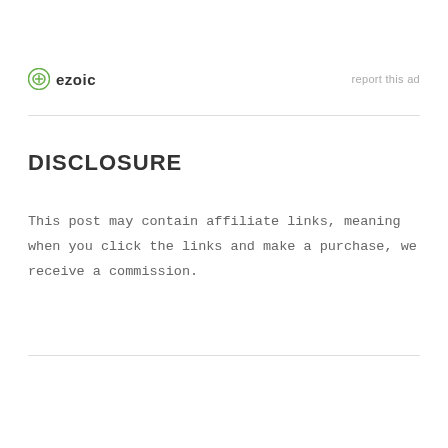[Figure (logo): Ezoic logo with green circular icon and bold text 'ezoic', with 'report this ad' link on the right]
DISCLOSURE
This post may contain affiliate links, meaning when you click the links and make a purchase, we receive a commission.